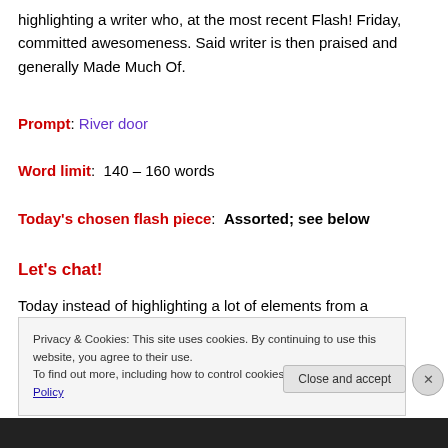highlighting a writer who, at the most recent Flash! Friday, committed awesomeness. Said writer is then praised and generally Made Much Of.
Prompt: River door
Word limit:  140 – 160 words
Today's chosen flash piece:  Assorted; see below
Let's chat!
Today instead of highlighting a lot of elements from a
Privacy & Cookies: This site uses cookies. By continuing to use this website, you agree to their use.
To find out more, including how to control cookies, see here: Cookie Policy